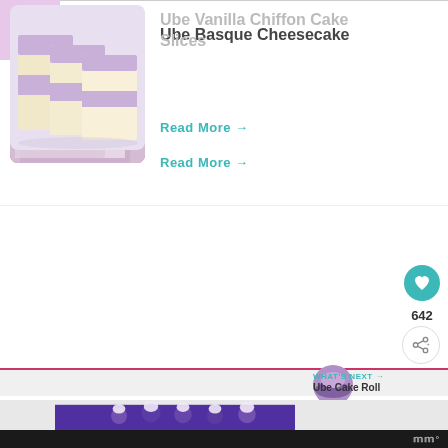[Figure (photo): Hamburger menu icon on pink/lavender background]
[Figure (photo): Slice of purple/lavender Ube Basque Cheesecake on a white plate]
Ube Basque Cheesecake
Read More →
[Figure (photo): Ube Vanilla Chiffon Cake slices - layered purple and white cake pieces on white plate]
Ube Vanilla Chiffon Cake Slices
Read More →
642
[Figure (photo): Ube Cake Roll thumbnail]
WHAT'S NEXT → Ube Cake Roll
[Figure (photo): Partial view of a round purple tart/cake with white cream dollops on top]
Mediavine logo